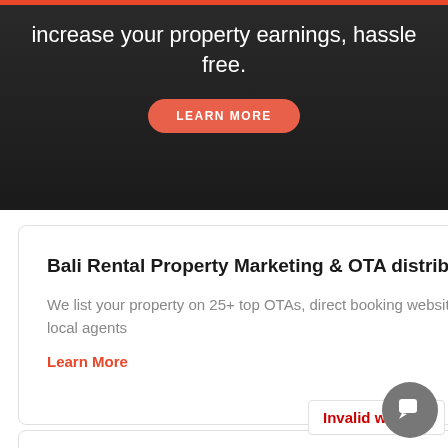increase your property earnings, hassle free.
LEARN MORE
Bali Rental Property Marketing & OTA distribution
We list your property on 25+ top OTAs, direct booking websites, and market via social media and local agents
Learn More
Invalid website
Full Service Bali Property Management